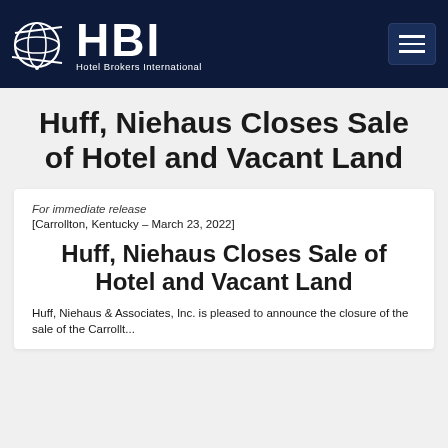[Figure (logo): HBI Hotel Brokers International logo with globe graphic on dark navy header bar with hamburger menu button]
Huff, Niehaus Closes Sale of Hotel and Vacant Land
For immediate release
[Carrollton, Kentucky – March 23, 2022]
Huff, Niehaus Closes Sale of Hotel and Vacant Land
Huff, Niehaus & Associates, Inc. is pleased to announce the closure of the sale of the Carrollton...